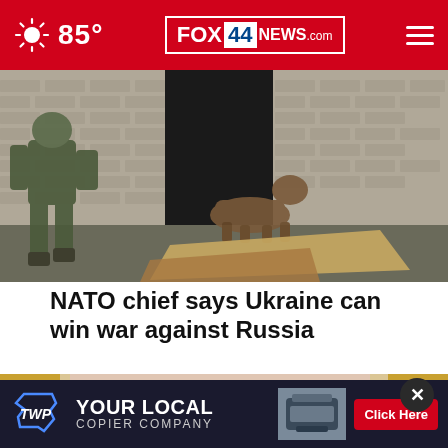85° FOX 44 NEWS.com
[Figure (photo): A soldier in camouflage gear walking near a brick building with a German Shepherd dog emerging from a doorway; debris and cardboard on the ground]
NATO chief says Ukraine can win war against Russia
[Figure (photo): Close-up of a blonde woman's face with striking eyes, partially obscured by a close-up crop; woman wearing a white headband]
[Figure (infographic): Advertisement banner: TWP logo - YOUR LOCAL COPIER COMPANY with Click Here button]